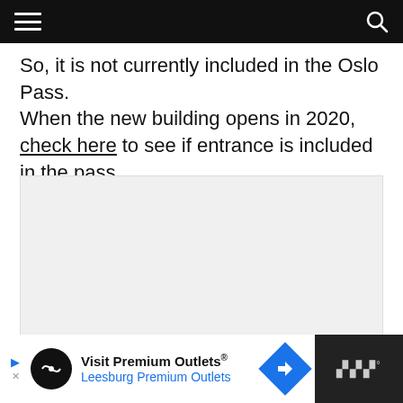[navigation bar with hamburger menu and search icon]
So, it is not currently included in the Oslo Pass. When the new building opens in 2020, check here to see if entrance is included in the pass.
[Figure (other): Light gray placeholder content box]
[Figure (other): Advertisement banner: Visit Premium Outlets® / Leesburg Premium Outlets with navigation arrow icon and Waze-style logo on right]